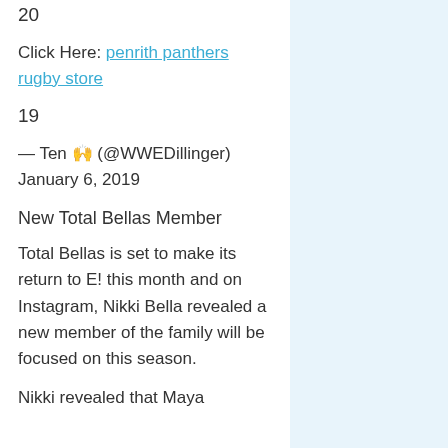20
Click Here: penrith panthers rugby store
19
— Ten 🙌 (@WWEDillinger) January 6, 2019
New Total Bellas Member
Total Bellas is set to make its return to E! this month and on Instagram, Nikki Bella revealed a new member of the family will be focused on this season.
Nikki revealed that Maya